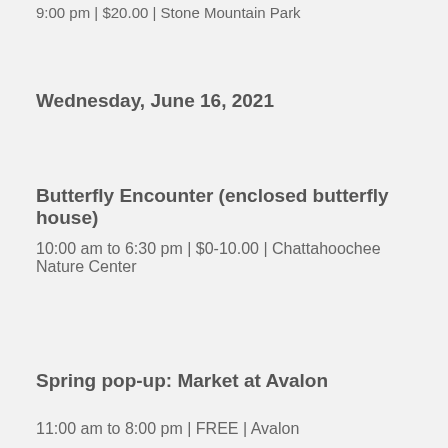9:00 pm | $20.00 | Stone Mountain Park
Wednesday, June 16, 2021
Butterfly Encounter (enclosed butterfly house)
10:00 am to 6:30 pm | $0-10.00 | Chattahoochee Nature Center
Spring pop-up: Market at Avalon
11:00 am to 8:00 pm | FREE | Avalon